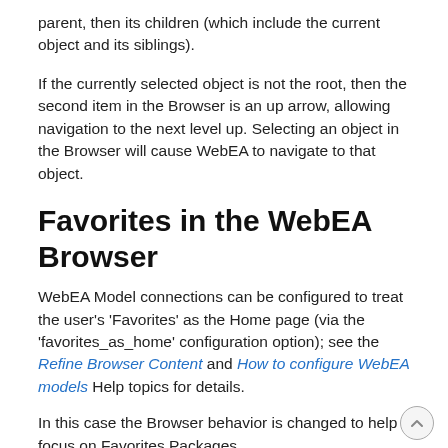parent, then its children (which include the current object and its siblings).
If the currently selected object is not the root, then the second item in the Browser is an up arrow, allowing navigation to the next level up. Selecting an object in the Browser will cause WebEA to navigate to that object.
Favorites in the WebEA Browser
WebEA Model connections can be configured to treat the user's 'Favorites' as the Home page (via the 'favorites_as_home' configuration option); see the Refine Browser Content and How to configure WebEA models Help topics for details.
In this case the Browser behavior is changed to help focus on Favorites Packages.
When initially opening the model, the Browser will